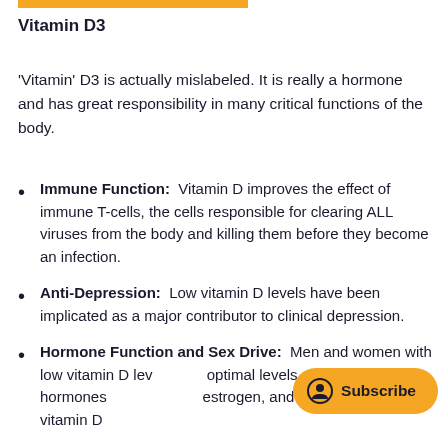Vitamin D3
'Vitamin' D3 is actually mislabeled. It is really a hormone and has great responsibility in many critical functions of the body.
Immune Function:  Vitamin D improves the effect of immune T-cells, the cells responsible for clearing ALL viruses from the body and killing them before they become an infection.
Anti-Depression:  Low vitamin D levels have been implicated as a major contributor to clinical depression.
Hormone Function and Sex Drive:  Men and women with low vitamin D levels optimal levels of sex hormones estrogen, and progesterone) and vitamin D deficiency has been implicated in a...